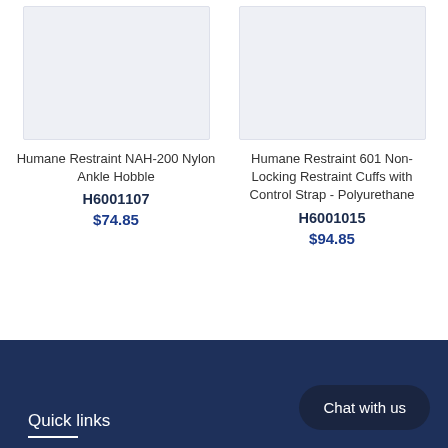[Figure (photo): Product image placeholder for Humane Restraint NAH-200 Nylon Ankle Hobble]
Humane Restraint NAH-200 Nylon Ankle Hobble
H6001107
$74.85
[Figure (photo): Product image placeholder for Humane Restraint 601 Non-Locking Restraint Cuffs with Control Strap - Polyurethane]
Humane Restraint 601 Non-Locking Restraint Cuffs with Control Strap - Polyurethane
H6001015
$94.85
Quick links
Chat with us